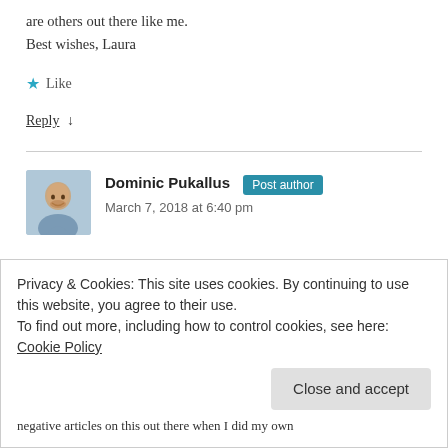are others out there like me.
Best wishes, Laura
★ Like
Reply ↓
[Figure (photo): Profile photo of Dominic Pukallus, a smiling middle-aged man]
Dominic Pukallus Post author
March 7, 2018 at 6:40 pm
Hi Laura,
Privacy & Cookies: This site uses cookies. By continuing to use this website, you agree to their use.
To find out more, including how to control cookies, see here: Cookie Policy
Close and accept
negative articles on this out there when I did my own